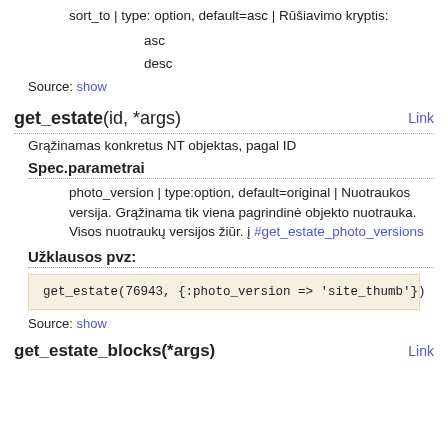sort_to | type: option, default=asc | Rūšiavimo kryptis:
asc
desc
Source: show
get_estate(id, *args)
Grąžinamas konkretus NT objektas, pagal ID
Spec.parametrai
photo_version | type:option, default=original | Nuotraukos versija. Grąžinama tik viena pagrindinė objekto nuotrauka. Visos nuotraukų versijos žiūr. į #get_estate_photo_versions
Užklausos pvz:
get_estate(76943, {:photo_version => 'site_thumb'})
Source: show
get_estate_blocks(*args)